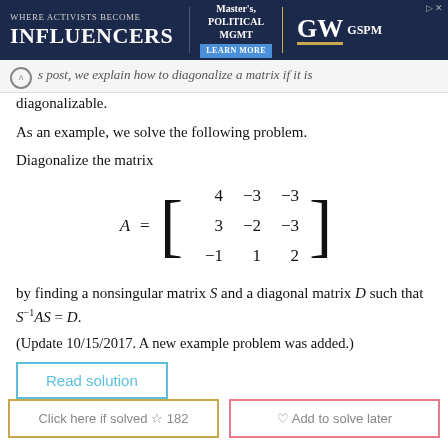[Figure (other): Advertisement banner for GW GSPM Master's Political Management program with dark navy background]
s post, we explain how to diagonalize a matrix if it is diagonalizable.
As an example, we solve the following problem.
Diagonalize the matrix
by finding a nonsingular matrix S and a diagonal matrix D such that S⁻¹AS = D.
(Update 10/15/2017. A new example problem was added.)
Read solution
Click here if solved ☆ 182
♡ Add to solve later